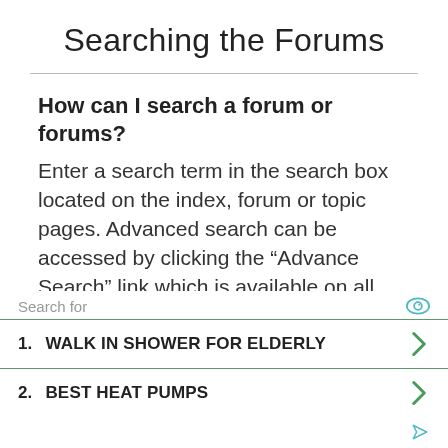Searching the Forums
How can I search a forum or forums?
Enter a search term in the search box located on the index, forum or topic pages. Advanced search can be accessed by clicking the “Advance Search” link which is available on all pages on the forum. How to access the
1. WALK IN SHOWER FOR ELDERLY
2. BEST HEAT PUMPS